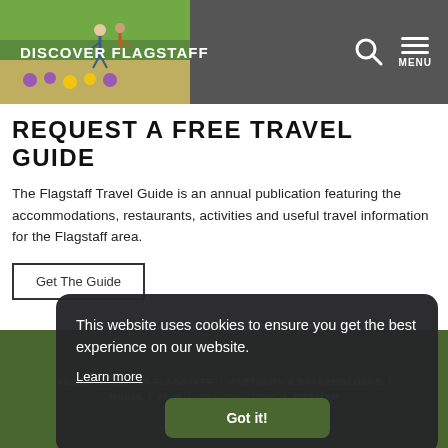DISCOVER FLAGSTAFF
[Figure (illustration): Illustration of hikers on a trail with flowers and greenery]
REQUEST A FREE TRAVEL GUIDE
The Flagstaff Travel Guide is an annual publication featuring the accommodations, restaurants, activities and useful travel information for the Flagstaff area.
Get The Guide
This website uses cookies to ensure you get the best experience on our website.
Learn more
Got it!
ABOUT DISCOVER FLAGSTAFF / PARTNERS & STAKEHOLDERS / MEDIA / FILM / TRANSLATIONS / SITEMAP